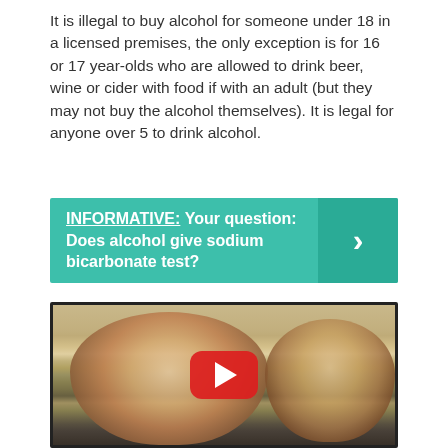It is illegal to buy alcohol for someone under 18 in a licensed premises, the only exception is for 16 or 17 year-olds who are allowed to drink beer, wine or cider with food if with an adult (but they may not buy the alcohol themselves). It is legal for anyone over 5 to drink alcohol.
[Figure (infographic): Teal/green banner with text: INFORMATIVE: Your question: Does alcohol give sodium bicarbonate test? with a right-pointing chevron arrow on the right side.]
[Figure (screenshot): YouTube video thumbnail showing two men in a supermarket/store setting, with a red YouTube play button in the center.]